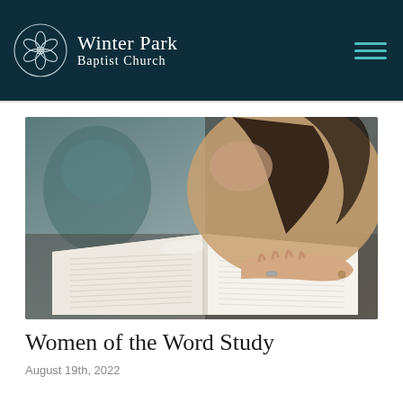Winter Park Baptist Church
[Figure (photo): Woman with dark braided hair leaning over an open book, hand resting on the pages, wearing a ring and beige top]
Women of the Word Study
August 19th, 2022